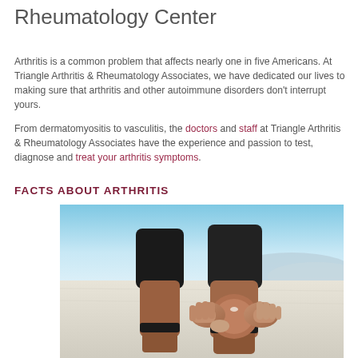Rheumatology Center
Arthritis is a common problem that affects nearly one in five Americans. At Triangle Arthritis & Rheumatology Associates, we have dedicated our lives to making sure that arthritis and other autoimmune disorders don't interrupt yours.
From dermatomyositis to vasculitis, the doctors and staff at Triangle Arthritis & Rheumatology Associates have the experience and passion to test, diagnose and treat your arthritis symptoms.
FACTS ABOUT ARTHRITIS
[Figure (photo): Person in black athletic shorts holding their knee with both hands outdoors on a white salt flat with mountains in the background, illustrating knee joint pain associated with arthritis.]